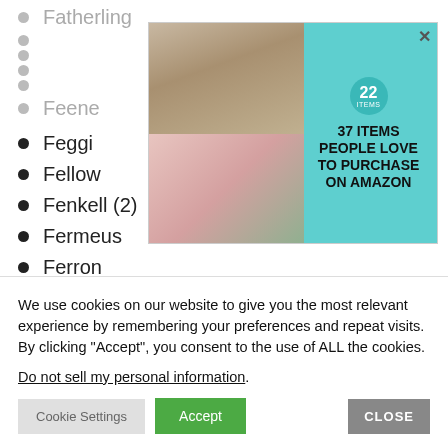Fatherling
(partially hidden)
(partially hidden)
(partially hidden)
(partially hidden)
Feene
Feggi
Fellow
Fenkell (2)
Fermeus
Ferron
[Figure (other): Advertisement banner: two product images (woman with necklace, pink dispenser with plant) and text '22 ITEMS PEOPLE LOVE TO PURCHASE ON AMAZON' with teal background and badge]
We use cookies on our website to give you the most relevant experience by remembering your preferences and repeat visits. By clicking “Accept”, you consent to the use of ALL the cookies.
Do not sell my personal information.
Cookie Settings | Accept | CLOSE